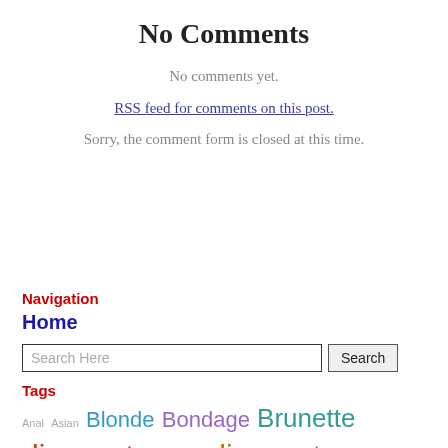No Comments
No comments yet.
RSS feed for comments on this post.
Sorry, the comment form is closed at this time.
Navigation
Home
Search Here
Tags
Anal  Asian  Blonde  Bondage  Brunette  discount porn  discount sex  Extreme  girls squirting  hardcore porn  hardcore sex